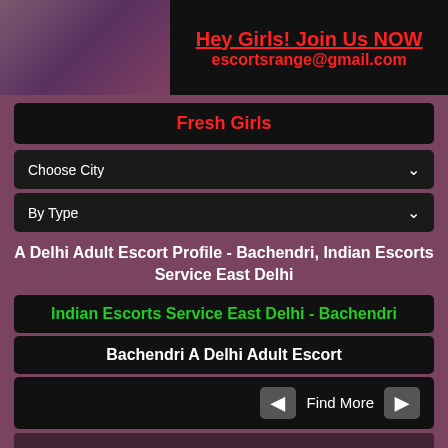[Figure (photo): Partial photo of a person on the left side of the top banner]
Hey Girls! Join Us NOW
escortsrange@gmail.com
Fresh Girls
Choose City
By Type
A Delhi Adult Escort Profile - Bachendri, Indian Escorts Service East Delhi
Indian Escorts Service East Delhi - Bachendri
Bachendri A Delhi Adult Escort
Find More
| Field | Value |
| --- | --- |
| Age: | 20 |
| Nationality: | Indian |
| Measurements: | 38-34-38 |
| Height: | 147 cm |
| Languages: | Hindi, English |